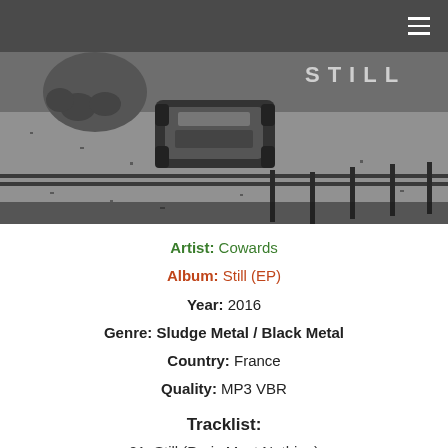Navigation bar with hamburger menu
[Figure (photo): Black and white aerial photograph of a car on a road, with the word STILL visible in the top right corner. Album art for Cowards - Still (EP).]
Artist: Cowards
Album: Still (EP)
Year: 2016
Genre: Sludge Metal / Black Metal
Country: France
Quality: MP3 VBR
Tracklist:
01. Still (Paris Most Nothing)
02. Empty Eyes Smiles